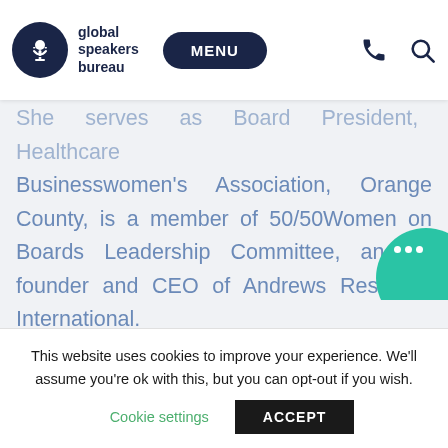global speakers bureau | MENU
She serves as Board President, Healthcare Businesswomen's Association, Orange County, is a member of 50/50Women on Boards Leadership Committee, and is founder and CEO of Andrews Research International.
This website uses cookies to improve your experience. We'll assume you're ok with this, but you can opt-out if you wish.
Cookie settings | ACCEPT